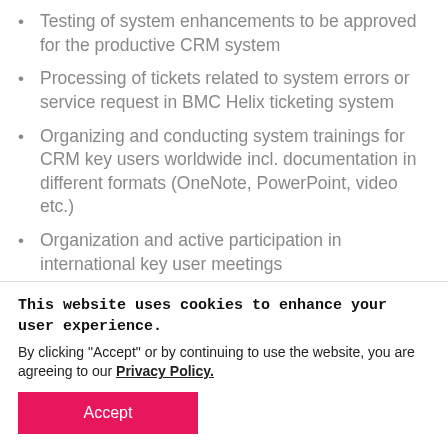Testing of system enhancements to be approved for the productive CRM system
Processing of tickets related to system errors or service request in BMC Helix ticketing system
Organizing and conducting system trainings for CRM key users worldwide incl. documentation in different formats (OneNote, PowerPoint, video etc.)
Organization and active participation in international key user meetings
Maintenance and enhancements of existing business processes after alignment with Sales
This website uses cookies to enhance your user experience.
By clicking "Accept" or by continuing to use the website, you are agreeing to our Privacy Policy.